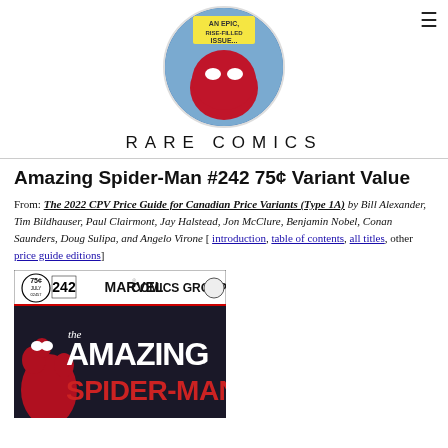RARE COMICS
Amazing Spider-Man #242 75¢ Variant Value
From: The 2022 CPV Price Guide for Canadian Price Variants (Type 1A) by Bill Alexander, Tim Bildhauser, Paul Clairmont, Jay Halstead, Jon McClure, Benjamin Nobel, Conan Saunders, Doug Sulipa, and Angelo Virone [ introduction, table of contents, all titles, other price guide editions]
[Figure (photo): Comic book cover of Amazing Spider-Man #242, Marvel Comics Group, 75 cent Canadian price variant, showing Spider-Man and the Amazing Spider-Man title logo]